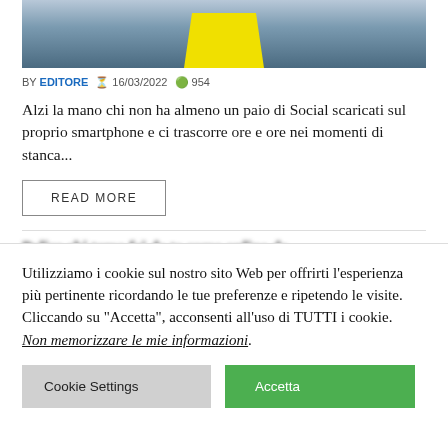[Figure (photo): Partial image of a yellow phone/device on a dark blue background, cropped at the top]
BY EDITORE 16/03/2022 954
Alzi la mano chi non ha almeno un paio di Social scaricati sul proprio smartphone e ci trascorre ore e ore nei momenti di stanca...
READ MORE
Utilizziamo i cookie sul nostro sito Web per offrirti l'esperienza più pertinente ricordando le tue preferenze e ripetendo le visite. Cliccando su "Accetta", acconsenti all'uso di TUTTI i cookie.
Non memorizzare le mie informazioni.
Cookie Settings
Accetta